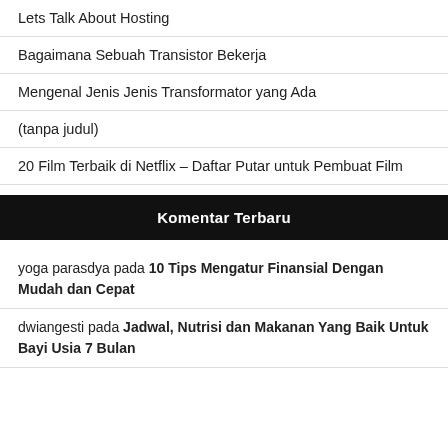Lets Talk About Hosting
Bagaimana Sebuah Transistor Bekerja
Mengenal Jenis Jenis Transformator yang Ada
(tanpa judul)
20 Film Terbaik di Netflix – Daftar Putar untuk Pembuat Film
Komentar Terbaru
yoga parasdya pada 10 Tips Mengatur Finansial Dengan Mudah dan Cepat
dwiangesti pada Jadwal, Nutrisi dan Makanan Yang Baik Untuk Bayi Usia 7 Bulan